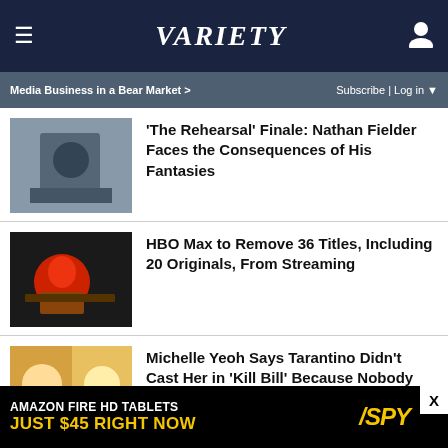Variety
Media Business in a Bear Market > Subscribe | Log in
'The Rehearsal' Finale: Nathan Fielder Faces the Consequences of His Fantasies
HBO Max to Remove 36 Titles, Including 20 Originals, From Streaming
Michelle Yeoh Says Tarantino Didn't Cast Her in 'Kill Bill' Because Nobody 'Would Believe Uma Thurman Could Kick Your Ass...
Jamie Foxx Says It'll Be 'Tough' to Release His Shelved Comedy That Stars Robert Downey Jr. as
[Figure (photo): Ad banner: Amazon Fire HD Tablets Just $45 Right Now - SPY]